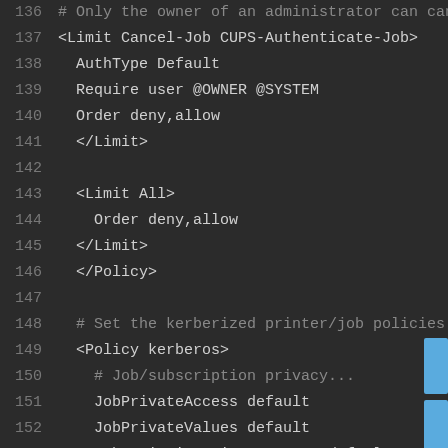136   # Only the owner of an administrator can cancel or authe…
137   <Limit Cancel-Job CUPS-Authenticate-Job>
138     AuthType Default
139     Require user @OWNER @SYSTEM
140     Order deny,allow
141   </Limit>
142
143   <Limit All>
144     Order deny,allow
145   </Limit>
146   </Policy>
147
148   # Set the kerberized printer/job policies...
149   <Policy kerberos>
150     # Job/subscription privacy...
151     JobPrivateAccess default
152     JobPrivateValues default
153     SubscriptionPrivateAccess default
154     SubscriptionPrivateValues default
155
156   # Job-related operations must be done by the own…